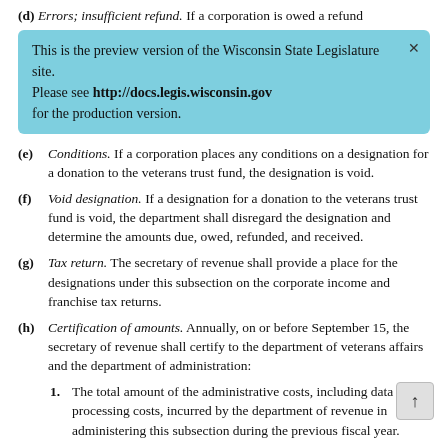(d) Errors; insufficient refund. If a corporation is owed a refund
[Figure (screenshot): Blue banner overlay: 'This is the preview version of the Wisconsin State Legislature site. Please see http://docs.legis.wisconsin.gov for the production version.' with an X close button.]
(e) Conditions. If a corporation places any conditions on a designation for a donation to the veterans trust fund, the designation is void.
(f) Void designation. If a designation for a donation to the veterans trust fund is void, the department shall disregard the designation and determine the amounts due, owed, refunded, and received.
(g) Tax return. The secretary of revenue shall provide a place for the designations under this subsection on the corporate income and franchise tax returns.
(h) Certification of amounts. Annually, on or before September 15, the secretary of revenue shall certify to the department of veterans affairs and the department of administration:
1. The total amount of the administrative costs, including data processing costs, incurred by the department of revenue in administering this subsection during the previous fiscal year.
2. The total amount received from all designations to the